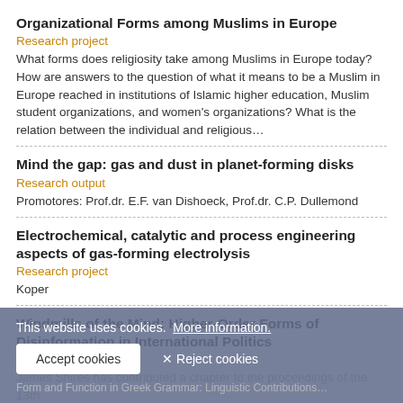Organizational Forms among Muslims in Europe
Research project
What forms does religiosity take among Muslims in Europe today? How are answers to the question of what it means to be a Muslim in Europe reached in institutions of Islamic higher education, Muslim student organizations, and women's organizations? What is the relation between the individual and religious...
Mind the gap: gas and dust in planet-forming disks
Research output
Promotores: Prof.dr. E.F. van Dishoeck, Prof.dr. C.P. Dullemond
Electrochemical, catalytic and process engineering aspects of gas-forming electrolysis
Research project
Koper
Windmills of the Mind: Higher-Order Forms of Disinformation in International Politics
Research output
James Shires has contributed a chapter to the proceedings of the 13th ... (2021) which ... the law, technology, and strategy domains.
Form and Function in Greek Grammar: Linguistic Contributions...
This website uses cookies. More information.
Accept cookies | Reject cookies